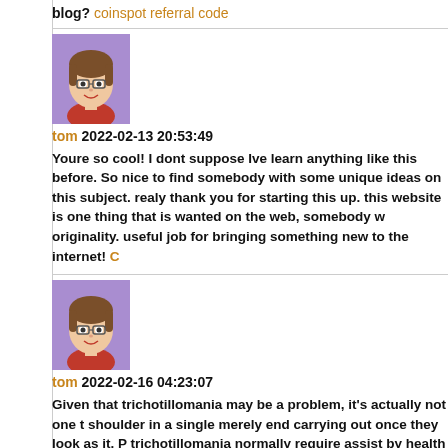blog? coinspot referral code
[Figure (illustration): Cartoon avatar: brown-haired girl with glasses on purple background]
tom 2022-02-13 20:53:49
Youre so cool! I dont suppose Ive learn anything like this before. So nice to find somebody with some unique ideas on this subject. realy thank you for starting this up. this website is one thing that is wanted on the web, somebody with a little originality. useful job for bringing something new to the internet! C...
[Figure (illustration): Cartoon avatar: brown-haired girl with glasses on purple background]
tom 2022-02-16 04:23:07
Given that trichotillomania may be a problem, it's actually not one to cold shoulder in a single merely end carrying out once they look as it. People with trichotillomania normally require assist by health experts just before they can halt. Using the suitable aid, nevertheless, many people get over his or her desires. This particular support may perhaps entail treatment, prescription medication as well as a variety of the two. 🔗🔗🔗🔗
[Figure (illustration): Cartoon avatar: brown-haired girl with glasses on purple background]
tom 2022-02-24 00:59:44
[...]we like to honor other sites on the web, even if they aren't related to them. Below are some sites worth checking out[...] pagalworld...